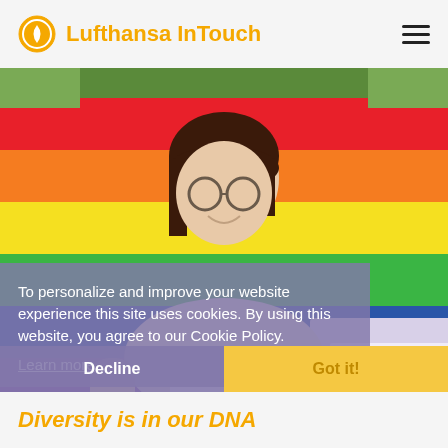Lufthansa InTouch
[Figure (photo): Young woman with dark hair and glasses holding a document with hashtags #DAHOBITZ21 and #QUEERsWORK in front of a large rainbow pride flag outdoors. A cookie consent overlay is displayed over the lower portion of the image.]
To personalize and improve your website experience this site uses cookies. By using this website, you agree to our Cookie Policy.
Learn more
Decline
Got it!
Diversity is in our DNA